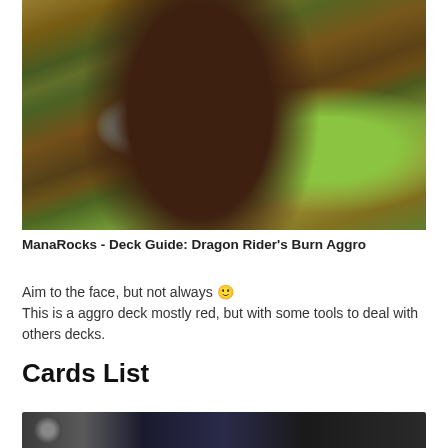[Figure (illustration): Fantasy illustration of a centaur warrior with golden armor and horns, wielding a blue axe, running across a battlefield with yellow-green energy in the background.]
ManaRocks - Deck Guide: Dragon Rider's Burn Aggro
Aim to the face, but not always 🙂
This is a aggro deck mostly red, but with some tools to deal with others decks.
Cards List
[Figure (illustration): Bottom portion of a card image, partially visible at the bottom of the page.]